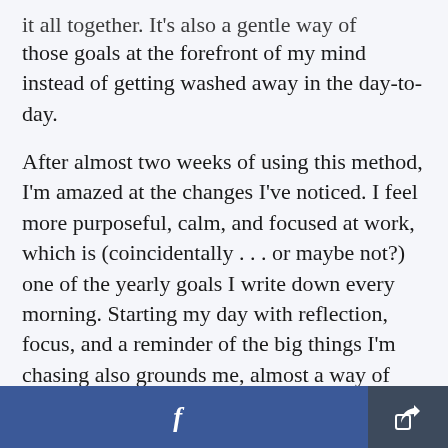it all together. It's also a gentle way of keeping those goals at the forefront of my mind instead of getting washed away in the day-to-day.
After almost two weeks of using this method, I'm amazed at the changes I've noticed. I feel more purposeful, calm, and focused at work, which is (coincidentally . . . or maybe not?) one of the yearly goals I write down every morning. Starting my day with reflection, focus, and a reminder of the big things I'm chasing also grounds me, almost a way of defining myself and my reality when stress and
[Figure (screenshot): Footer bar with Facebook share button (blue, left) and a general share button (dark, right)]